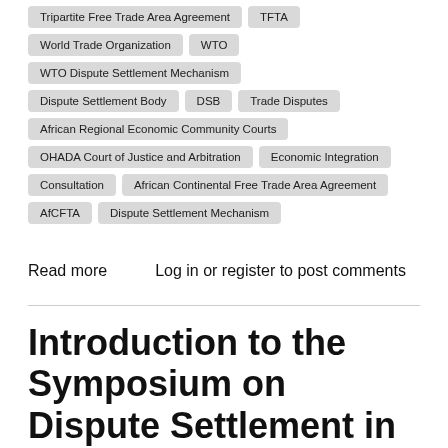Tripartite Free Trade Area Agreement
TFTA
World Trade Organization
WTO
WTO Dispute Settlement Mechanism
Dispute Settlement Body
DSB
Trade Disputes
African Regional Economic Community Courts
OHADA Court of Justice and Arbitration
Economic Integration
Consultation
African Continental Free Trade Area Agreement
AfCFTA
Dispute Settlement Mechanism
Read more   Log in or register to post comments
Introduction to the Symposium on Dispute Settlement in the African